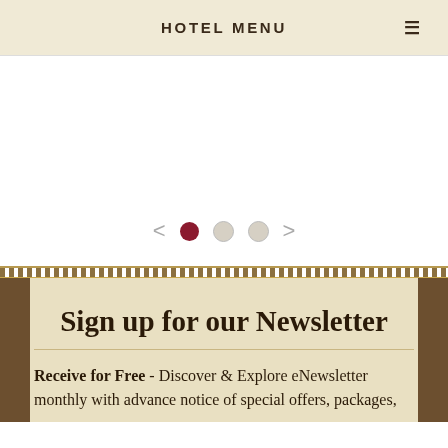HOTEL MENU
[Figure (other): Image slider area with navigation arrows and pagination dots (one active dark red dot and two inactive grey dots)]
Sign up for our Newsletter
Receive for Free - Discover & Explore eNewsletter monthly with advance notice of special offers, packages,